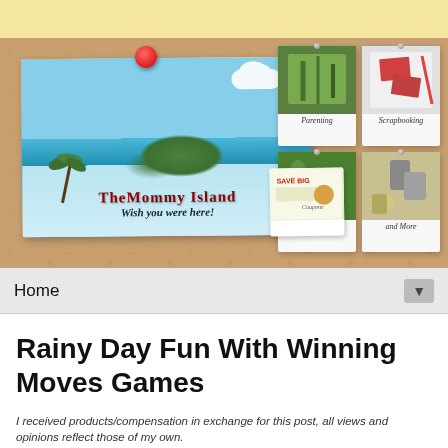[Figure (illustration): The Mommy Island website banner on a cork board background with main postcard logo, polaroid photos labeled Parenting, Scrapbooking, Coupons, Recipes, and More]
Home ▼
Rainy Day Fun With Winning Moves Games
I received products/compensation in exchange for this post, all views and opinions reflect those of my own.
Sponsor is responsible for prize fulfillment.
[Figure (photo): Partial bottom image showing bold text beginning with 'Doin Doin']